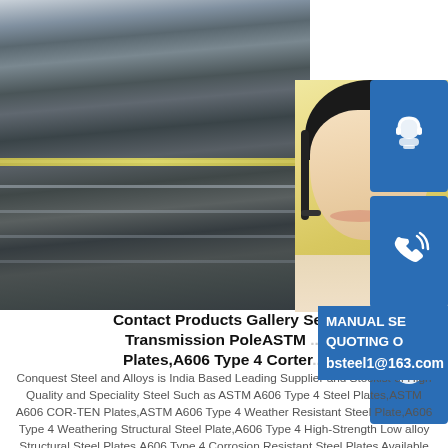[Figure (photo): Industrial steel plates stacked together, dark metallic colors, top portion of the page]
[Figure (photo): Customer service woman with headset, yellow/blurred background, overlaid with blue contact icons for phone, Skype, and chat]
Contact Products Gallery Se... Transmission PoleASTM ... Plates,A606 Type 4 Corter...
MANUAL SE... QUOTING O... bsteel1@163.com
Conquest Steel and Alloys is India Based Leading Supplier and Stockist of High Quality and Speciality Steel Such as ASTM A606 Type 4 Steel Plates,ASTM A606 COR-TEN Plates,ASTM A606 Type 4 Weather Resistant Steel Plate,A606 Type 4 Weathering Structural Steel Plate,A606 Type 4 High-Strength Low alloy Structural Steel Plates,A606 Type 4 Corrosion Resistant Steel Plates Available insp.infoSupply ASTM A606,A606 Type 2,A606 Type 4 Weathering Steel Plates,and more ASTM A606 M...